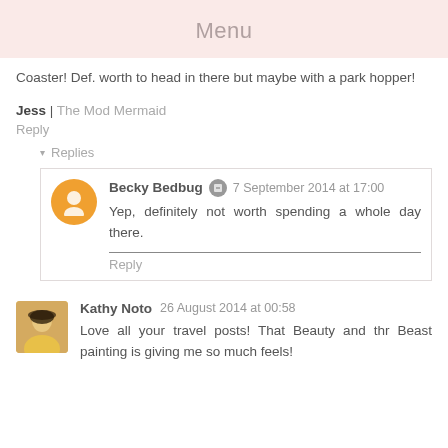Menu
Coaster! Def. worth to head in there but maybe with a park hopper!
Jess | The Mod Mermaid
Reply
▾ Replies
Becky Bedbug 7 September 2014 at 17:00
Yep, definitely not worth spending a whole day there.
Reply
Kathy Noto 26 August 2014 at 00:58
Love all your travel posts! That Beauty and thr Beast painting is giving me so much feels!